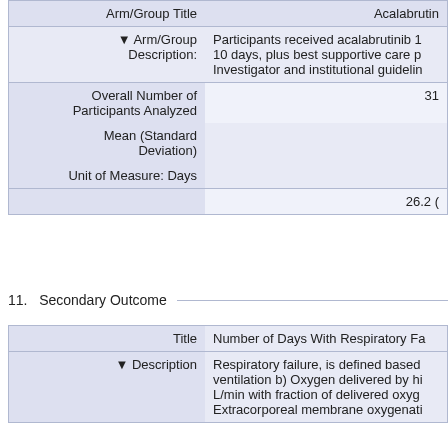| Field | Value |
| --- | --- |
| Arm/Group Title | Acalabrutin... |
| ▼ Arm/Group Description: | Participants received acalabrutinib 1... 10 days, plus best supportive care p... Investigator and institutional guidelin... |
| Overall Number of Participants Analyzed | 31 |
| Mean (Standard Deviation) |  |
| Unit of Measure: Days |  |
|  | 26.2 (... |
11.   Secondary Outcome
| Field | Value |
| --- | --- |
| Title | Number of Days With Respiratory Fa... |
| ▼ Description | Respiratory failure, is defined based... ventilation b) Oxygen delivered by hi... L/min with fraction of delivered oxyg... Extracorporeal membrane oxygenati... |